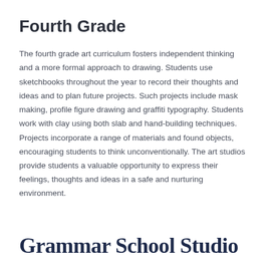Fourth Grade
The fourth grade art curriculum fosters independent thinking and a more formal approach to drawing. Students use sketchbooks throughout the year to record their thoughts and ideas and to plan future projects. Such projects include mask making, profile figure drawing and graffiti typography. Students work with clay using both slab and hand-building techniques. Projects incorporate a range of materials and found objects, encouraging students to think unconventionally. The art studios provide students a valuable opportunity to express their feelings, thoughts and ideas in a safe and nurturing environment.
Grammar School Studio